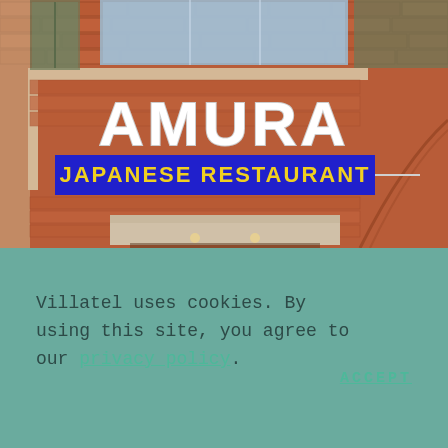[Figure (photo): Exterior photo of Amura Japanese Restaurant sign on a red brick building. Large white lettering 'AMURA' on the brick wall above a blue banner sign reading 'JAPANESE RESTAURANT' in yellow text. Building has arched brick details and windows reflecting sky.]
Villatel uses cookies. By using this site, you agree to our privacy policy.
ACCEPT